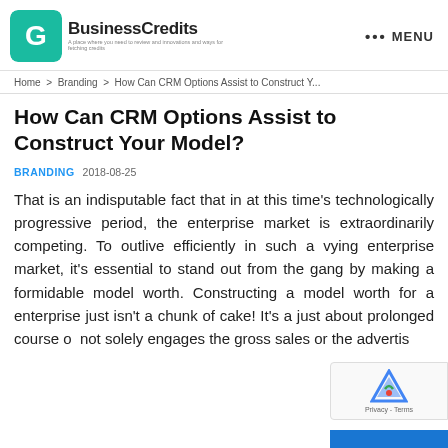BusinessCredits · ••• MENU
Home > Branding > How Can CRM Options Assist to Construct Y...
How Can CRM Options Assist to Construct Your Model?
BRANDING   2018-08-25
That is an indisputable fact that in at this time's technologically progressive period, the enterprise market is extraordinarily competing. To outlive efficiently in such a vying enterprise market, it's essential to stand out from the gang by making a formidable model worth. Constructing a model worth for a enterprise just isn't a chunk of cake! It's a just about prolonged course of not solely engages the gross sales or the advertis...